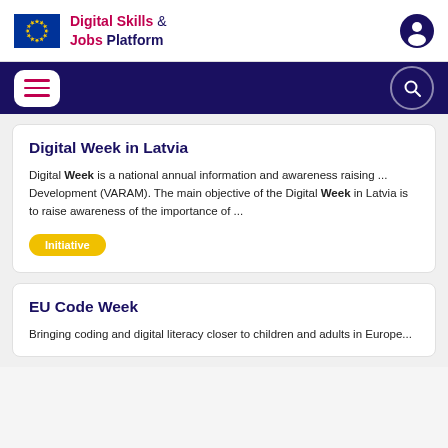Digital Skills & Jobs Platform
Digital Week in Latvia
Digital Week is a national annual information and awareness raising ... Development (VARAM). The main objective of the Digital Week in Latvia is to raise awareness of the importance of ...
Initiative
EU Code Week
Bringing coding and digital literacy closer to children and adults in Europe...